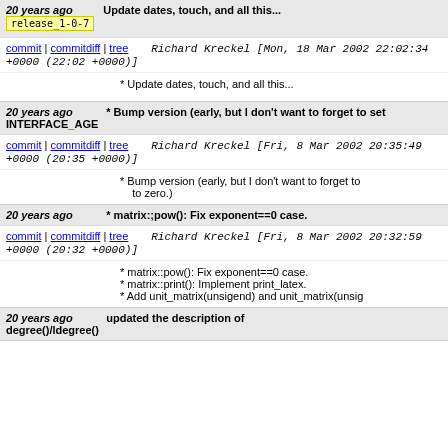20 years ago   Update dates, touch, and all this...
release_1-0-7
commit | commitdiff | tree   Richard Kreckel [Mon, 18 Mar 2002 22:02:34 +0000 (22:02 +0000)]
* Update dates, touch, and all this...
20 years ago   * Bump version (early, but I don't want to forget to set INTERFACE_AGE
commit | commitdiff | tree   Richard Kreckel [Fri, 8 Mar 2002 20:35:49 +0000 (20:35 +0000)]
* Bump version (early, but I don't want to forget to to zero.)
20 years ago   * matrix:;pow(): Fix exponent==0 case.
commit | commitdiff | tree   Richard Kreckel [Fri, 8 Mar 2002 20:32:59 +0000 (20:32 +0000)]
* matrix::pow(): Fix exponent==0 case.
* matrix::print(): Implement print_latex.
* Add unit_matrix(unsigend) and unit_matrix(unsig
20 years ago   updated the description of degree()/ldegree()